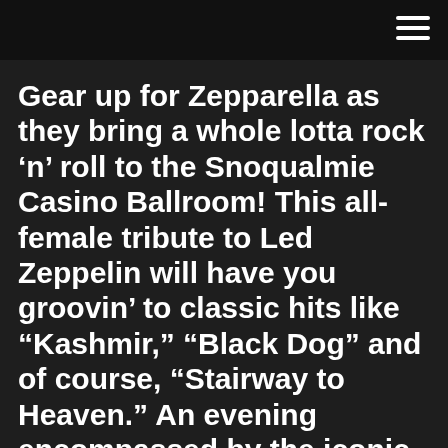Gear up for Zepparella as they bring a whole lotta rock ‘n’ roll to the Snoqualmie Casino Ballroom! This all-female tribute to Led Zeppelin will have you groovin’ to classic hits like “Kashmir,” “Black Dog” and of course, “Stairway to Heaven.” An evening encompassed by the iconic music of Led Zeppelin.
Best things to do in Gaimersheim, Germany with photos, attraction map & a detailed guide. Get a list of 14 tourist